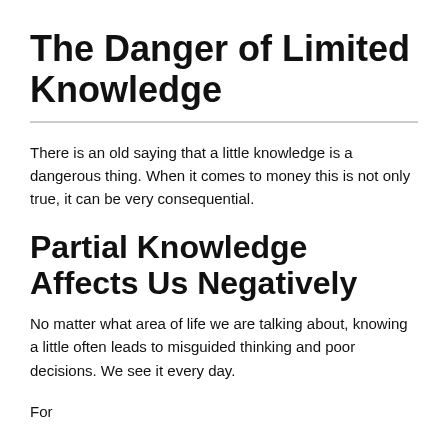The Danger of Limited Knowledge
There is an old saying that a little knowledge is a dangerous thing. When it comes to money this is not only true, it can be very consequential.
Partial Knowledge Affects Us Negatively
No matter what area of life we are talking about, knowing a little often leads to misguided thinking and poor decisions. We see it every day.
For